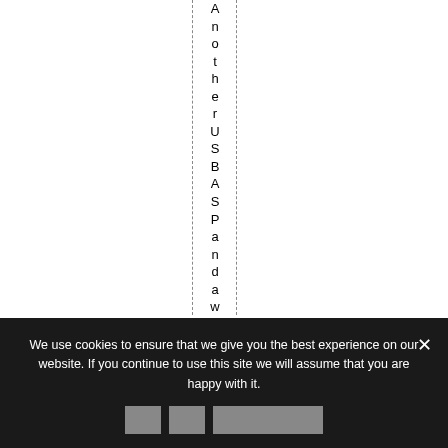AnotherUSBASPandawirei
We use cookies to ensure that we give you the best experience on our website. If you continue to use this site we will assume that you are happy with it.